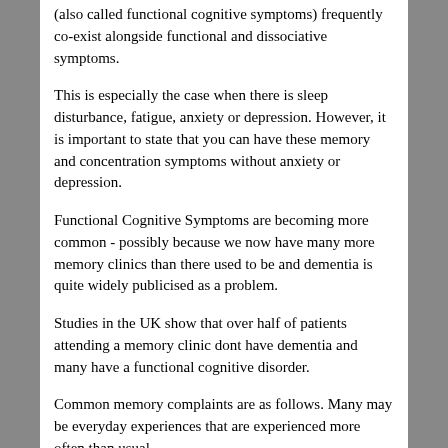(also called functional cognitive symptoms) frequently co-exist alongside functional and dissociative symptoms.
This is especially the case when there is sleep disturbance, fatigue, anxiety or depression. However, it is important to state that you can have these memory and concentration symptoms without anxiety or depression.
Functional Cognitive Symptoms are becoming more common - possibly because we now have many more memory clinics than there used to be and dementia is quite widely publicised as a problem.
Studies in the UK show that over half of patients attending a memory clinic dont have dementia and many have a functional cognitive disorder.
Common memory complaints are as follows. Many may be everyday experiences that are experienced more often than usual.